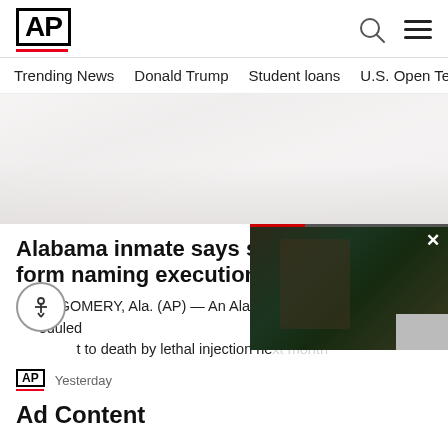AP
Trending News  Donald Trump  Student loans  U.S. Open Tenn
[Figure (photo): Faded/washed-out hero photograph, partially visible, light grayish tones]
Alabama inmate says state lost form naming execution method
MONTGOMERY, Ala. (AP) — An Ala... t to death by lethal injection ne:
AP  Yesterday
Ad Content
[Figure (photo): Floating video popup showing a person in a suit, with red progress bar at top and close (x) button]